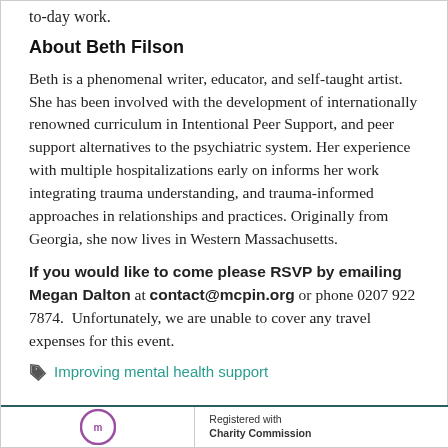to-day work.
About Beth Filson
Beth is a phenomenal writer, educator, and self-taught artist. She has been involved with the development of internationally renowned curriculum in Intentional Peer Support, and peer support alternatives to the psychiatric system. Her experience with multiple hospitalizations early on informs her work integrating trauma understanding, and trauma-informed approaches in relationships and practices. Originally from Georgia, she now lives in Western Massachusetts.
If you would like to come please RSVP by emailing Megan Dalton at contact@mcpin.org or phone 0207 922 7874.  Unfortunately, we are unable to cover any travel expenses for this event.
Improving mental health support
Registered with